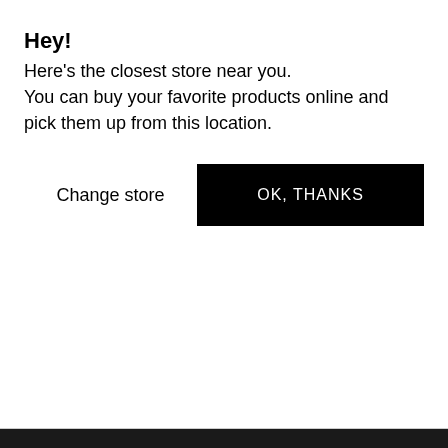Hey!
Here's the closest store near you.
You can buy your favorite products online and pick them up from this location.
Change store
OK, THANKS
[Figure (photo): White bowl/dish product on white background]
Great for anyone who loves gentle sweet scents and skin-softening ingredients. This little fizzer is packed with cocoa butter to leave you silky...
By continuing to browse, you consent to our use of cookies. Read more about our Privacy and Cookies Policy.
See ingredients
LET'S SHOP